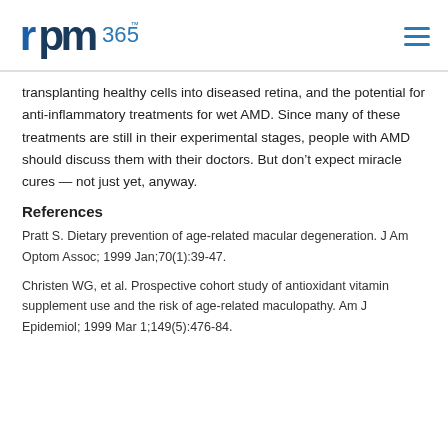rpm365
transplanting healthy cells into diseased retina, and the potential for anti-inflammatory treatments for wet AMD. Since many of these treatments are still in their experimental stages, people with AMD should discuss them with their doctors. But don't expect miracle cures — not just yet, anyway.
References
Pratt S. Dietary prevention of age-related macular degeneration. J Am Optom Assoc; 1999 Jan;70(1):39-47.
Christen WG, et al. Prospective cohort study of antioxidant vitamin supplement use and the risk of age-related maculopathy. Am J Epidemiol; 1999 Mar 1;149(5):476-84.